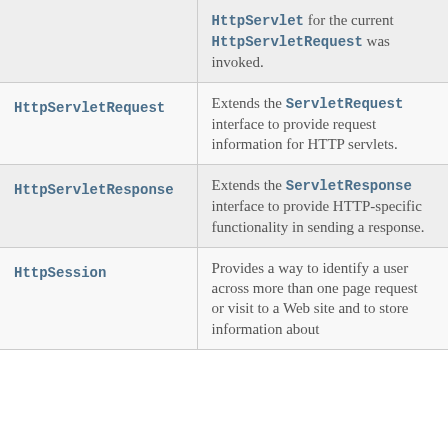| Interface/Class | Description |
| --- | --- |
| HttpServlet | HttpServlet for the current HttpServletRequest was invoked. |
| HttpServletRequest | Extends the ServletRequest interface to provide request information for HTTP servlets. |
| HttpServletResponse | Extends the ServletResponse interface to provide HTTP-specific functionality in sending a response. |
| HttpSession | Provides a way to identify a user across more than one page request or visit to a Web site and to store information about |